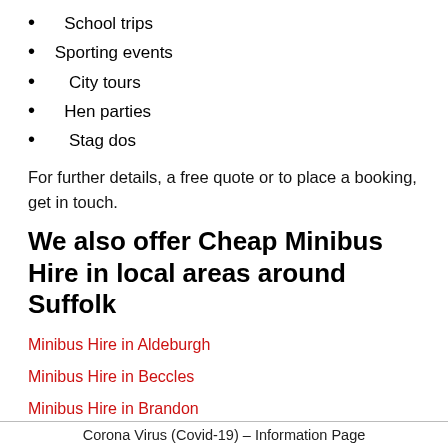School trips
Sporting events
City tours
Hen parties
Stag dos
For further details, a free quote or to place a booking, get in touch.
We also offer Cheap Minibus Hire in local areas around Suffolk
Minibus Hire in Aldeburgh
Minibus Hire in Beccles
Minibus Hire in Brandon
Minibus Hire in Bungay
Corona Virus (Covid-19) - Information Page